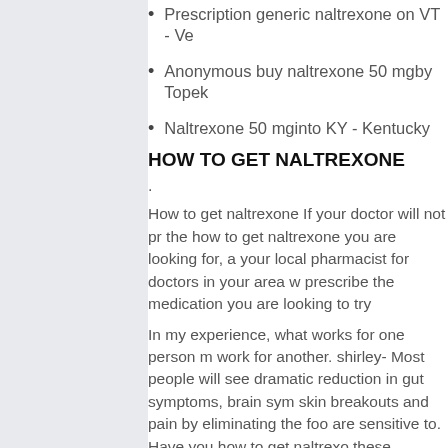Prescription generic naltrexone on VT - Ve...
Anonymous buy naltrexone 50 mgby Topek...
Naltrexone 50 mginto KY - Kentucky
HOW TO GET NALTREXONE
.
How to get naltrexone If your doctor will not pr... the how to get naltrexone you are looking for, a... your local pharmacist for doctors in your area w... prescribe the medication you are looking to try
In my experience, what works for one person m... work for another. shirley- Most people will see ... dramatic reduction in gut symptoms, brain sym... skin breakouts and pain by eliminating the foo... are sensitive to. Have you how to get naltrexo... these articles? Pri. There are quite a few opti...